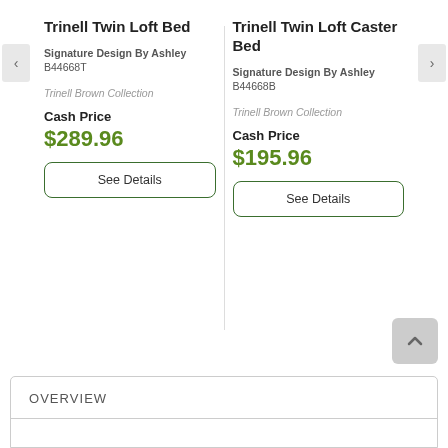Trinell Twin Loft Bed
Signature Design By Ashley
B44668T
Trinell Brown Collection
Cash Price
$289.96
See Details
Trinell Twin Loft Caster Bed
Signature Design By Ashley
B44668B
Trinell Brown Collection
Cash Price
$195.96
See Details
OVERVIEW